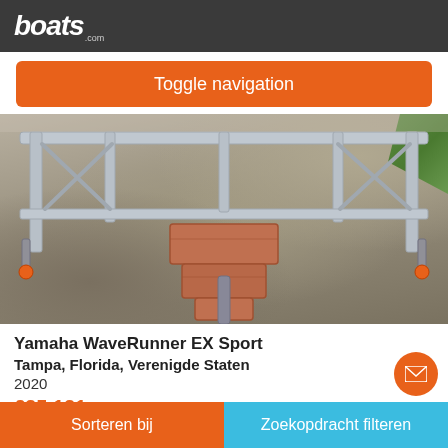boats.com
Toggle navigation
[Figure (photo): Photo of a metal boat trailer frame on gravel driveway with brick blocks underneath, grass visible at top right]
Yamaha WaveRunner EX Sport
Tampa, Florida, Verenigde Staten
2020
€25.121
Particuliere verkoper
Sorteren bij    Zoekopdracht filteren